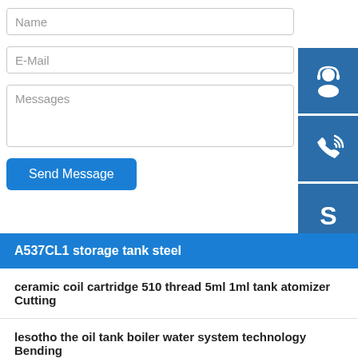Name
E-Mail
Messages
Send Message
[Figure (infographic): Customer service icon (headset/person) on dark blue square button]
[Figure (infographic): Phone/call icon on dark blue square button]
[Figure (infographic): Skype icon on dark blue square button]
A537CL1 storage tank steel
ceramic coil cartridge 510 thread 5ml 1ml tank atomizer Cutting
lesotho the oil tank boiler water system technology Bending